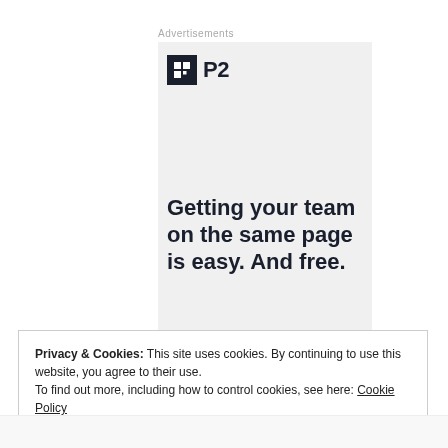Advertisements
[Figure (illustration): P2 advertisement banner with logo and tagline 'Getting your team on the same page is easy. And free.']
Privacy & Cookies: This site uses cookies. By continuing to use this website, you agree to their use.
To find out more, including how to control cookies, see here: Cookie Policy
Close and accept